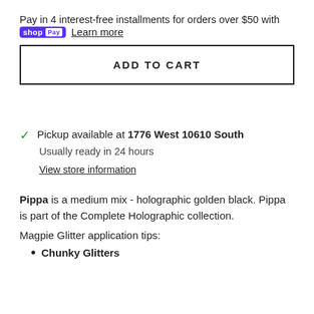Pay in 4 interest-free installments for orders over $50 with shop Pay  Learn more
ADD TO CART
✓ Pickup available at 1776 West 10610 South
Usually ready in 24 hours
View store information
Pippa is a medium mix - holographic golden black. Pippa is part of the Complete Holographic collection.
Magpie Glitter application tips:
Chunky Glitters